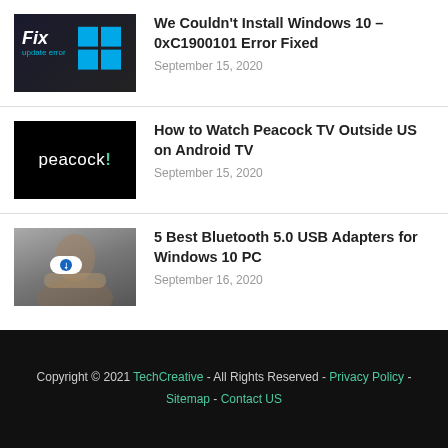[Figure (screenshot): Article thumbnail: Windows Fix update error image with blue Windows logo on dark background]
We Couldn't Install Windows 10 – 0xC1900101 Error Fixed
September 15, 2020
[Figure (screenshot): Article thumbnail: Peacock TV logo on black background]
How to Watch Peacock TV Outside US on Android TV
September 15, 2020
[Figure (photo): Article thumbnail: Person holding a small Bluetooth USB adapter with blue Bluetooth icon]
5 Best Bluetooth 5.0 USB Adapters for Windows 10 PC
September 16, 2020
Copyright © 2021 TechCreative - All Rights Reserved - Privacy Policy - Sitemap - Contact US